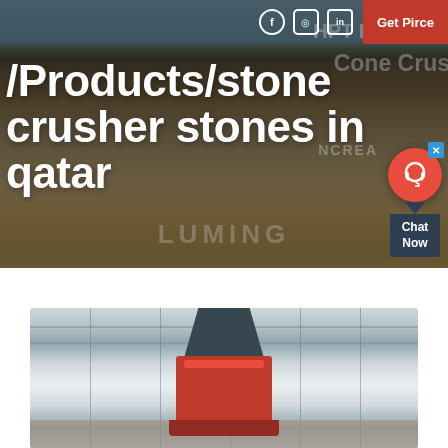[Figure (photo): Hero banner background showing industrial stone crusher facility with large machinery, conveyor belts, and equipment. Dark overlay with text overlaid. Social media icons (Facebook, Instagram, LinkedIn) and 'Get Pirce' red button in top navigation. Background watermark text 'HPT Hydraulic Cone Crusher'. Chat widget on right side with headset icon and 'Chat Now' label.]
/Products/stone crusher stones in qatar
[Figure (photo): Close-up photo of an industrial cone crusher machine (dark gray/black top cone structure, red body) inside a factory/warehouse with metal roof structure visible. The machine appears to be a vertical shaft impact crusher or cone crusher.]